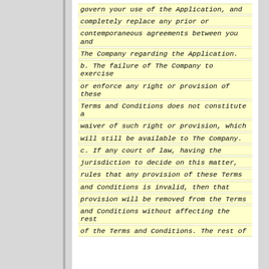govern your use of the Application, and completely replace any prior or contemporaneous agreements between you and The Company regarding the Application. b. The failure of The Company to exercise or enforce any right or provision of these Terms and Conditions does not constitute a waiver of such right or provision, which will still be available to The Company. c. If any court of law, having the jurisdiction to decide on this matter, rules that any provision of these Terms and Conditions is invalid, then that provision will be removed from the Terms and Conditions without affecting the rest of the Terms and Conditions. The rest of